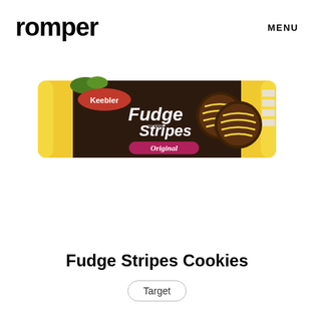romper   MENU
[Figure (photo): Keebler Fudge Stripes Original cookies package — a long yellow bag with the Keebler logo, large dark brown text reading 'Fudge Stripes', a pink/magenta banner reading 'Original', and chocolate-coated striped cookies shown on the right side of the package.]
Fudge Stripes Cookies
Target